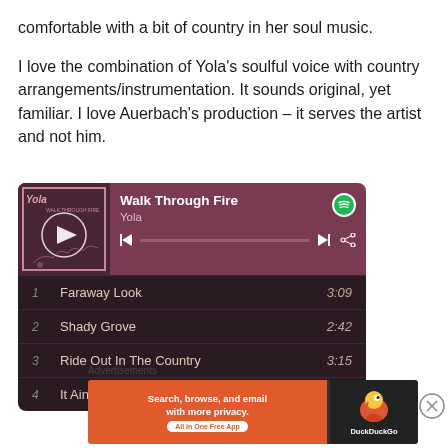comfortable with a bit of country in her soul music.
I love the combination of Yola’s soulful voice with country arrangements/instrumentation. It sounds original, yet familiar. I love Auerbach’s production – it serves the artist and not him.
[Figure (screenshot): Spotify embedded player widget showing 'Walk Through Fire' by Yola with album art, playback controls, and a track listing including: 1. Faraway Look 3:09, 2. Shady Grove 2:42, 3. Ride Out In The Country 3:15, 4. It Ain't Easier 4:23]
Advertisements
[Figure (screenshot): DuckDuckGo advertisement banner: 'Search, browse, and email with more privacy. All in One Free App' with DuckDuckGo logo on orange background]